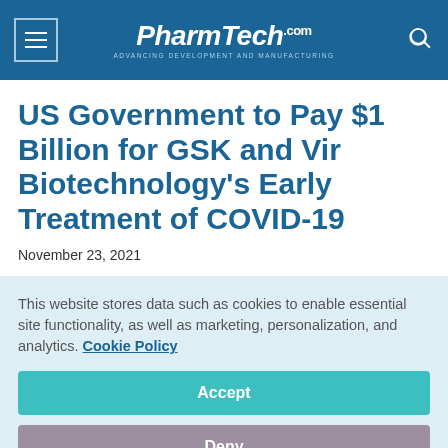PharmTech.com — Advancing Development and Manufacturing
US Government to Pay $1 Billion for GSK and Vir Biotechnology's Early Treatment of COVID-19
November 23, 2021
This website stores data such as cookies to enable essential site functionality, as well as marketing, personalization, and analytics. Cookie Policy
Accept
Deny